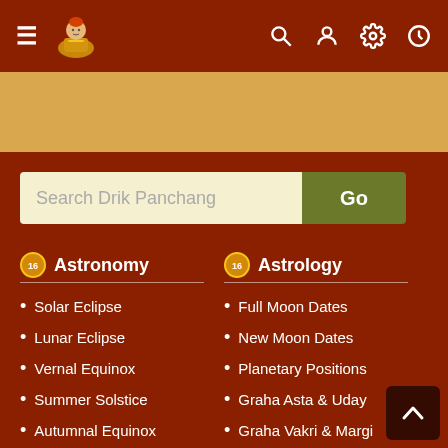[Figure (screenshot): Top navigation bar with hamburger menu, logo (seated figure illustration), search icon, user icon, settings icon, and clock/history icon on dark red background]
[Figure (illustration): Tan/golden colored banner area, likely an advertisement space]
Search Drik Panchang
Go
Astronomy
Solar Eclipse
Lunar Eclipse
Vernal Equinox
Summer Solstice
Autumnal Equinox
Winter Solstice
Astrology
Full Moon Dates
New Moon Dates
Planetary Positions
Graha Asta & Uday
Graha Vakri & Margi
Graha Gochara